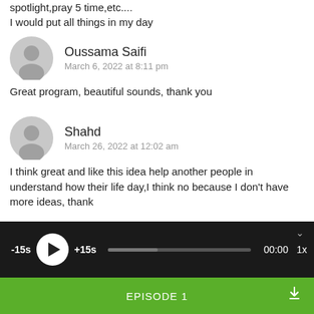spotlight,pray 5 time,etc....
I would put all things in my day
Oussama Saifi
March 6, 2022 at 8:11 pm
Great program, beautiful sounds, thank you
Shahd
March 26, 2022 at 12:02 am
I think great and like this idea help another people in understand how their life day,I think no because I don't have more ideas, thank
[Figure (screenshot): Audio player bar with -15s, play button, +15s, progress bar, 00:00 timestamp, and 1x speed, on dark background]
EPISODE 1